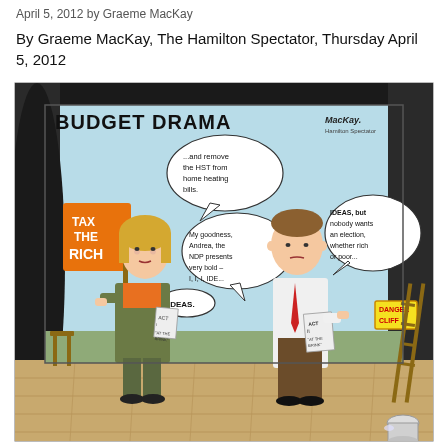April 5, 2012 by Graeme MacKay
By Graeme MacKay, The Hamilton Spectator, Thursday April 5, 2012
[Figure (illustration): Editorial cartoon titled 'BUDGET DRAMA' by Graeme MacKay. A female politician (Andrea) holds a sign reading 'TAX THE RICH' and papers, with speech bubbles: '...and remove the HST from home heating bills.' and 'IDEAS.' A male politician in a white shirt and red tie reads papers (ACT II 'AT THE BRINK'), with speech bubbles: 'My goodness, Andrea, the NDP presents very bold – I, I, I, IDE...' and 'IDEAS, but nobody wants an election, whether rich or poor...' A 'DANGER CLIFF' sign is visible on the right side. Artist signature 'MacKay' appears in top right.]